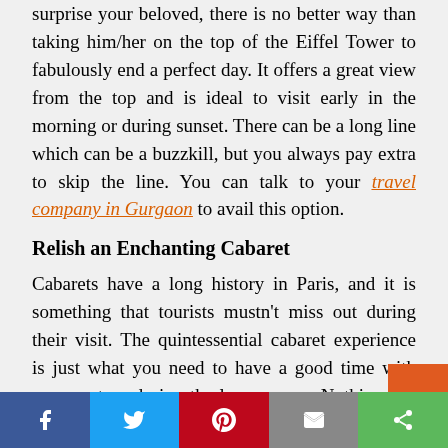surprise your beloved, there is no better way than taking him/her on the top of the Eiffel Tower to fabulously end a perfect day. It offers a great view from the top and is ideal to visit early in the morning or during sunset. There can be a long line which can be a buzzkill, but you always pay extra to skip the line. You can talk to your travel company in Gurgaon to avail this option.
Relish an Enchanting Cabaret
Cabarets have a long history in Paris, and it is something that tourists mustn’t miss out during their visit. The quintessential cabaret experience is just what you need to have a good time with your partner during the love season. Nothing can go wrong in a night when you get to accompany lively dancers and a live orchestra. You will have plenty of options in Paris for cabaret. Try out the Lido de Paris or Moulin Rouge for an extensive and
Social share bar: Facebook, Twitter, Pinterest, Email, Share